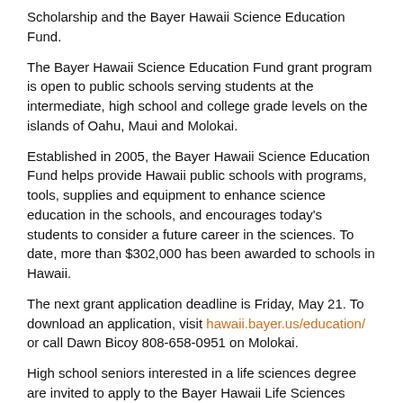Scholarship and the Bayer Hawaii Science Education Fund.
The Bayer Hawaii Science Education Fund grant program is open to public schools serving students at the intermediate, high school and college grade levels on the islands of Oahu, Maui and Molokai.
Established in 2005, the Bayer Hawaii Science Education Fund helps provide Hawaii public schools with programs, tools, supplies and equipment to enhance science education in the schools, and encourages today's students to consider a future career in the sciences. To date, more than $302,000 has been awarded to schools in Hawaii.
The next grant application deadline is Friday, May 21. To download an application, visit hawaii.bayer.us/education/ or call Dawn Bicoy 808-658-0951 on Molokai.
High school seniors interested in a life sciences degree are invited to apply to the Bayer Hawaii Life Sciences Scholarship. As many as 10 scholarships of $1,000 each are typically awarded each year.
This scholarship is open to graduating seniors of all high schools in Hawaii who will be attending an accredited college or university to pursue a discipline related to the life sciences (including agriculture, agronomy, biology, botany, genetics, horticulture, plant physiology, chemistry, crop science and soil science).
The deadline for applications is June 30. To download an application,